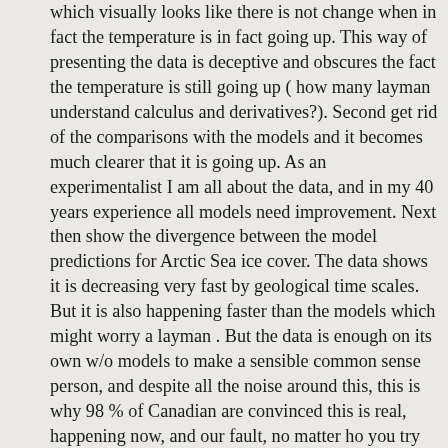which visually looks like there is not change when in fact the temperature is in fact going up. This way of presenting the data is deceptive and obscures the fact the temperature is still going up ( how many layman understand calculus and derivatives?). Second get rid of the comparisons with the models and it becomes much clearer that it is going up. As an experimentalist I am all about the data, and in my 40 years experience all models need improvement. Next then show the divergence between the model predictions for Arctic Sea ice cover. The data shows it is decreasing very fast by geological time scales. But it is also happening faster than the models which might worry a layman . But the data is enough on its own w/o models to make a sensible common sense person, and despite all the noise around this, this is why 98 % of Canadian are convinced this is real, happening now, and our fault, no matter ho you try to bury this in this sort of unnecessary and deceptive data manipulation. The plot presented here looks flat. A plot of temperature however shows increase. Show that one. This sort of